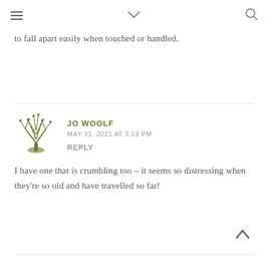Navigation header with hamburger menu, chevron, and search icon
to fall apart easily when touched or handled.
JO WOOLF
MAY 31, 2021 AT 3:13 PM
REPLY

I have one that is crumbling too – it seems so distressing when they're so old and have travelled so far!